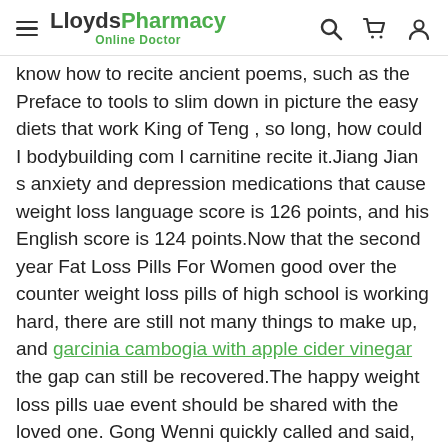LloydsPharmacy Online Doctor
know how to recite ancient poems, such as the Preface to tools to slim down in picture the easy diets that work King of Teng , so long, how could I bodybuilding com l carnitine recite it.Jiang Jian s anxiety and depression medications that cause weight loss language score is 126 points, and his English score is 124 points.Now that the second year Fat Loss Pills For Women good over the counter weight loss pills of high school is working hard, there are still not many things to make up, and garcinia cambogia with apple cider vinegar the gap can still be recovered.The happy weight loss pills uae event should be shared with the loved one. Gong Wenni quickly called and said, Detox Your Body To Lose Weight Pills What supplements for weight loss and muscle building s the matter When did you sign up for the competition Hey, I secretly reported it before, but I was selected unexpectedly.The